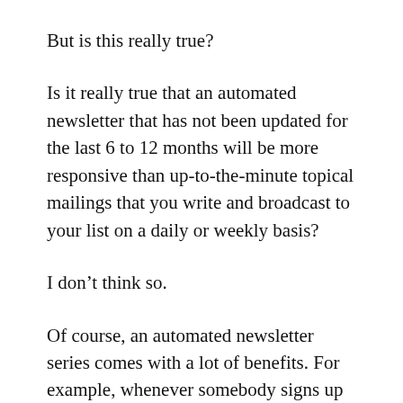But is this really true?
Is it really true that an automated newsletter that has not been updated for the last 6 to 12 months will be more responsive than up-to-the-minute topical mailings that you write and broadcast to your list on a daily or weekly basis?
I don’t think so.
Of course, an automated newsletter series comes with a lot of benefits. For example, whenever somebody signs up to your newsletter via a squeeze page, they will be automatically plugged into your sequence. The